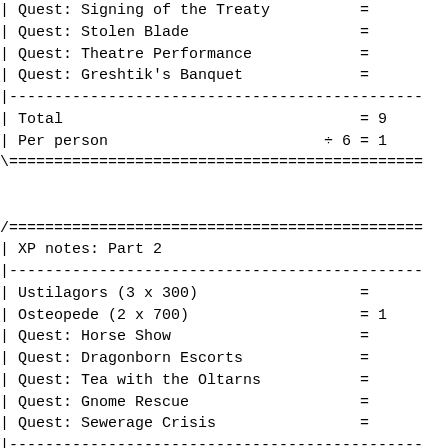| Quest: Signing of the Treaty          =
| Quest: Stolen Blade                   =
| Quest: Theatre Performance            =
| Quest: Greshtik's Banquet             =
|----------------------------------------------
| Total                                 = 9
| Per person                        ÷ 6 = 1
\==============================================


/==============================================
| XP notes: Part 2
|----------------------------------------------
| Ustilagors (3 x 300)                  =
| Osteopede (2 x 700)                   = 1
| Quest: Horse Show                     =
| Quest: Dragonborn Escorts             =
| Quest: Tea with the Oltarns           =
| Quest: Gnome Rescue                   =
| Quest: Sewerage Crisis                =
|----------------------------------------------